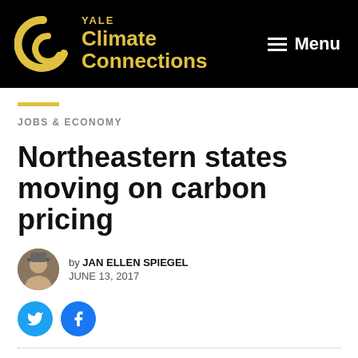YALE Climate Connections | Menu
JOBS & ECONOMY
Northeastern states moving on carbon pricing
by JAN ELLEN SPIEGEL
JUNE 13, 2017
[Figure (photo): CO2 text formed from clouds on a blue sky background]
The idea of putting a price on carbon